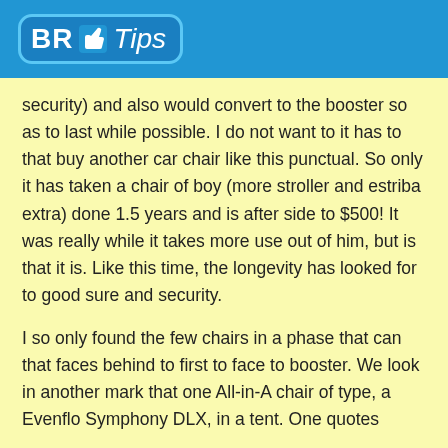BR Tips
security) and also would convert to the booster so as to last while possible. I do not want to it has to that buy another car chair like this punctual. So only it has taken a chair of boy (more stroller and estriba extra) done 1.5 years and is after side to $500! It was really while it takes more use out of him, but is that it is. Like this time, the longevity has looked for to good sure and security.
I so only found the few chairs in a phase that can that faces behind to first to face to booster. We look in another mark that one All-in-A chair of type, a Evenflo Symphony DLX, in a tent. One quotes